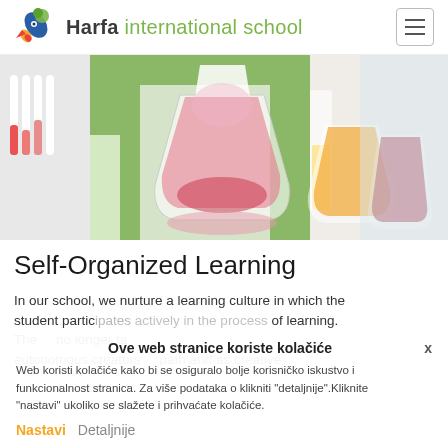Harfa international school
[Figure (photo): Close-up of colorful liquid-filled laboratory flasks and beakers on a white surface, held by person in green lab coat]
Self-Organized Learning
In our school, we nurture a learning culture in which the student participates actively in the process of learning. The ... no longer ta... autonomous creators ... path and as creative
Ove web stranice koriste kolačiće
Web koristi kolačiće kako bi se osiguralo bolje korisničko iskustvo i funkcionalnost stranica. Za više podataka o klikniti "detaljnije".Kliknite "nastavi" ukoliko se slažete i prihvaćate kolačiće.
Nastavi   Detaljnije